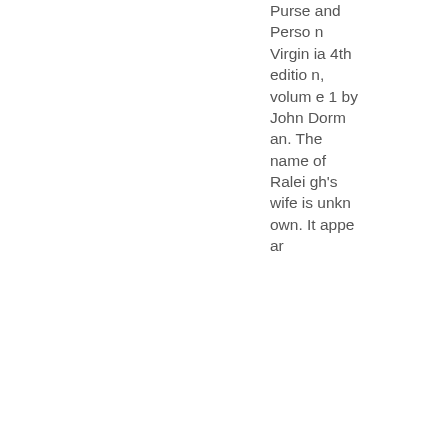Purse and Person Virginia 4th edition, volume 1 by John Dorman. The name of Raleigh's wife is unknown. It appear